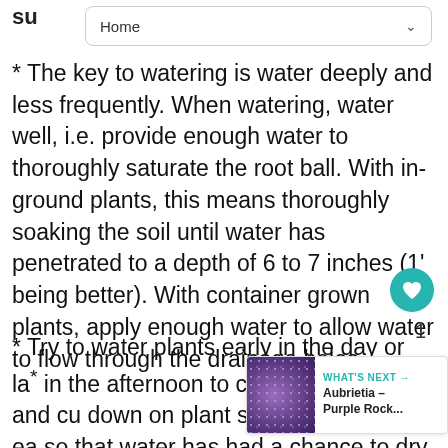su
Home
* The key to watering is water deeply and less frequently. When watering, water well, i.e. provide enough water to thoroughly saturate the root ball. With in-ground plants, this means thoroughly soaking the soil until water has penetrated to a depth of 6 to 7 inches (1' being better). With container grown plants, apply enough water to allow water to flow through the drainage holes.
* Try to water plants early in the day or la* in the afternoon to conserve water and cu* down on plant stress. Do water ea* so that water has had a chance to dry from plant leaves prior to night fall. This is
[Figure (other): Aubrietia Purple Rock thumbnail image for 'What's Next' panel]
WHAT'S NEXT → Aubrietia – Purple Rock...